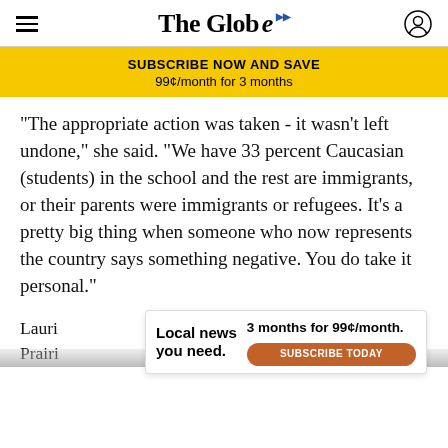The Globe
SUBSCRIBE NOW AND SAVE
99¢/month for 3 months
“The appropriate action was taken - it wasn’t left undone,” she said. “We have 33 percent Caucasian (students) in the school and the rest are immigrants, or their parents were immigrants or refugees. It’s a pretty big thing when someone who now represents the country says something negative. You do take it personal.”
Lauri... Prairi...
[Figure (other): Advertisement overlay: Local news you need. 3 months for 99¢/month. SUBSCRIBE TODAY button.]